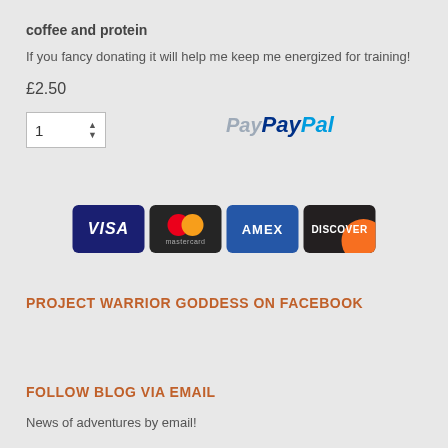coffee and protein
If you fancy donating it will help me keep me energized for training!
£2.50
[Figure (screenshot): Quantity selector box showing '1' with up/down arrows, and PayPal logo to the right]
[Figure (infographic): Payment card logos: VISA, Mastercard, AMEX, DISCOVER]
PROJECT WARRIOR GODDESS ON FACEBOOK
FOLLOW BLOG VIA EMAIL
News of adventures by email!